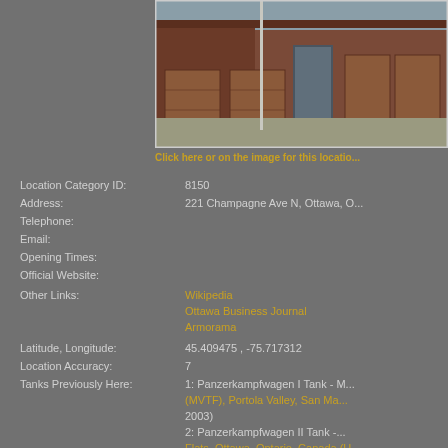[Figure (photo): Street view photo of a building with red/brown brick walls and garage doors, appears to be a military museum or storage facility]
Click here or on the image for this location
Location Category ID: 8150
Address: 221 Champagne Ave N, Ottawa, O
Telephone:
Email:
Opening Times:
Official Website:
Other Links: Wikipedia, Ottawa Business Journal, Armorama
Latitude, Longitude: 45.409475 , -75.717312
Location Accuracy: 7
Tanks Previously Here: 1: Panzerkampfwagen I Tank - M (MVTF), Portola Valley, San Ma 2003) 2: Panzerkampfwagen II Tank - Flats, Ottawa, Ontario, Canada (U 3: Sturmgeschütz III Assault Gu Flats, Ottawa, Ontario, Canada (U 4: Panzer IV/70 Tank Destroyer